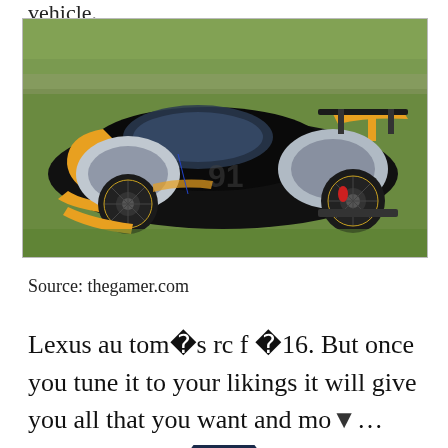vehicle.
[Figure (photo): A futuristic black and yellow/orange racing concept car (number 91) with silver aerodynamic bodywork, parked on grass.]
Source: thegamer.com
Lexus au tom�s rc f �16. But once you tune it to your likings it will give you all that you want and mo... the fastest